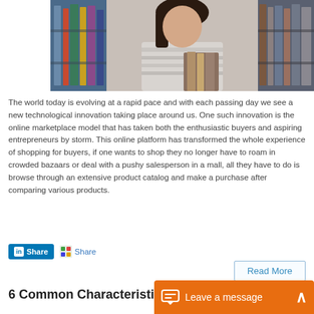[Figure (photo): Student in library holding books, standing among bookshelves]
The world today is evolving at a rapid pace and with each passing day we see a new technological innovation taking place around us. One such innovation is the online marketplace model that has taken both the enthusiastic buyers and aspiring entrepreneurs by storm. This online platform has transformed the whole experience of shopping for buyers, if one wants to shop they no longer have to roam in crowded bazaars or deal with a pushy salesperson in a mall, all they have to do is browse through an extensive product catalog and make a purchase after comparing various products.
Share  Share
Read More
6 Common Characteristi…
Leave a message